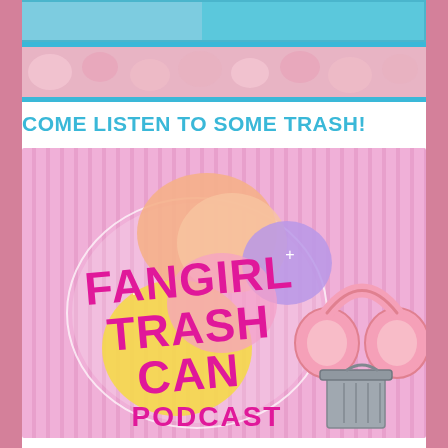[Figure (illustration): Top image strip showing a person, cropped, with blue background]
COME LISTEN TO SOME TRASH!
[Figure (logo): Fangirl Trash Can Podcast logo: pink and purple striped background with colorful blob shapes (peach, yellow, purple), large magenta bold text reading FANGIRL TRASH CAN PODCAST, pink headphones illustration, and a grey trash can illustration]